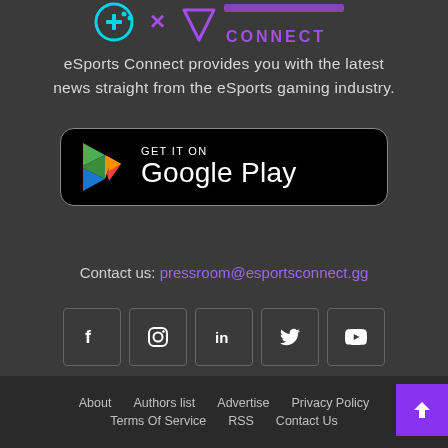[Figure (logo): eSports Connect logo with gaming controller icons and purple/cyan colors and text CONNECT]
eSports Connect provides you with the latest news straight from the eSports gaming industry.
[Figure (screenshot): GET IT ON Google Play store button with Google Play triangle logo]
Contact us: pressroom@esportsconnect.gg
[Figure (infographic): Social media icons row: Facebook, Instagram, LinkedIn, Twitter, YouTube]
About   Authors list   Advertise   Privacy Policy   Terms Of Service   RSS   Contact Us